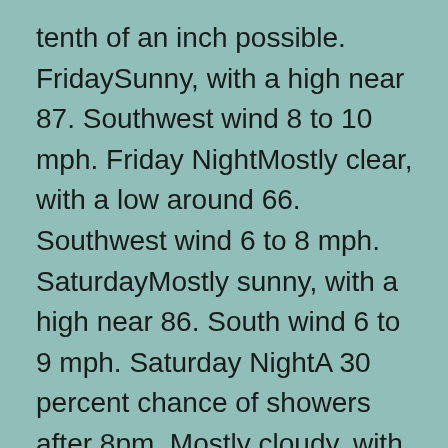tenth of an inch possible. FridaySunny, with a high near 87. Southwest wind 8 to 10 mph. Friday NightMostly clear, with a low around 66. Southwest wind 6 to 8 mph. SaturdayMostly sunny, with a high near 86. South wind 6 to 9 mph. Saturday NightA 30 percent chance of showers after 8pm. Mostly cloudy, with a low around 68. Southwest wind 7 to 11 mph. SundayA chance of showers, then showers likely and possibly a thunderstorm after 2pm. Mostly cloudy, with a high near 84. Southwest wind 10 to 14 mph. Chance of precipitation is 60%.Sunday NightShowers likely and possibly